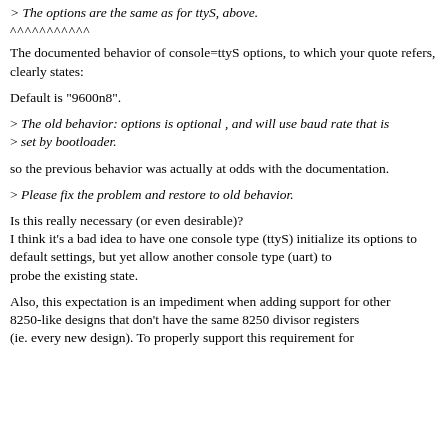> The options are the same as for ttyS, above.
^^^^^^^^^^^
The documented behavior of console=ttyS options, to which your quote refers, clearly states:
Default is "9600n8".
> The old behavior: options is optional , and will use baud rate that is
> set by bootloader.
so the previous behavior was actually at odds with the documentation.
> Please fix the problem and restore to old behavior.
Is this really necessary (or even desirable)?
I think it's a bad idea to have one console type (ttyS) initialize its options to default settings, but yet allow another console type (uart) to
probe the existing state.
Also, this expectation is an impediment when adding support for other
8250-like designs that don't have the same 8250 divisor registers
(ie. every new design). To properly support this requirement for